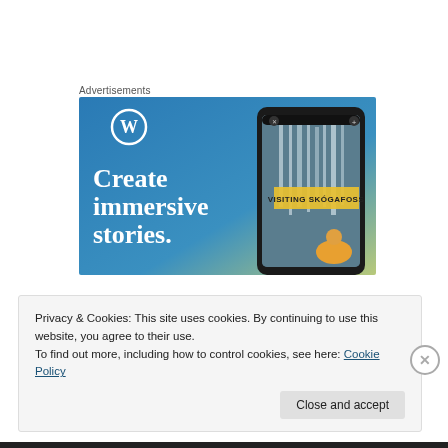Advertisements
[Figure (illustration): WordPress advertisement banner with blue-to-green gradient background, WordPress logo (W in circle) top left, large white serif text reading 'Create immersive stories.' on the left side, and a smartphone showing a waterfall photo with 'VISITING SKÓGAFOSS' label on the right side.]
Privacy & Cookies: This site uses cookies. By continuing to use this website, you agree to their use.
To find out more, including how to control cookies, see here: Cookie Policy
Close and accept